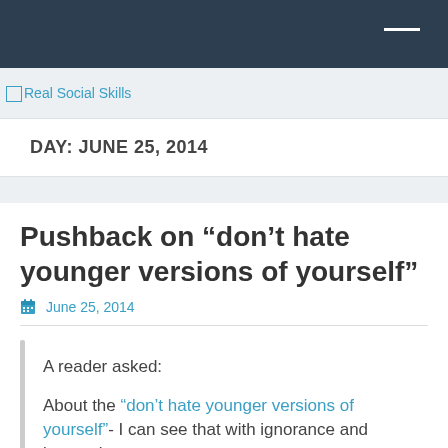Real Social Skills
DAY: JUNE 25, 2014
Pushback on “don’t hate younger versions of yourself”
June 25, 2014
A reader asked:
About the “don’t hate younger versions of yourself”- I can see that with ignorance and inexperience